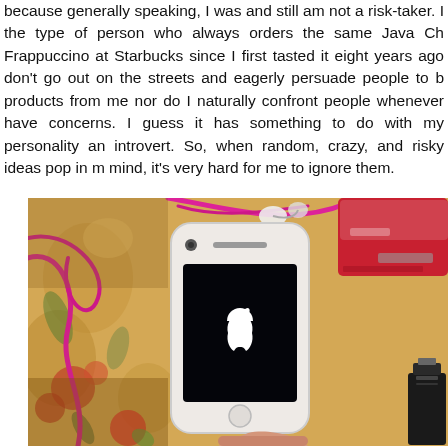because generally speaking, I was and still am not a risk-taker. I the type of person who always orders the same Java Ch Frappuccino at Starbucks since I first tasted it eight years ago don't go out on the streets and eagerly persuade people to b products from me nor do I naturally confront people whenever have concerns. I guess it has something to do with my personality an introvert. So, when random, crazy, and risky ideas pop in m mind, it's very hard for me to ignore them.
[Figure (photo): A white iPhone (Apple device showing the Apple logo on a dark screen) held in a hand, placed on a floral/patterned tablecloth background with pink/magenta cables and a red external hard drive visible.]